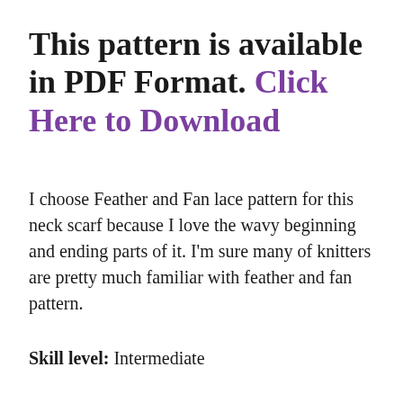This pattern is available in PDF Format. Click Here to Download
I choose Feather and Fan lace pattern for this neck scarf because I love the wavy beginning and ending parts of it. I'm sure many of knitters are pretty much familiar with feather and fan pattern.
Skill level: Intermediate
Measurement: width = 5 inches, body length 14 inch,